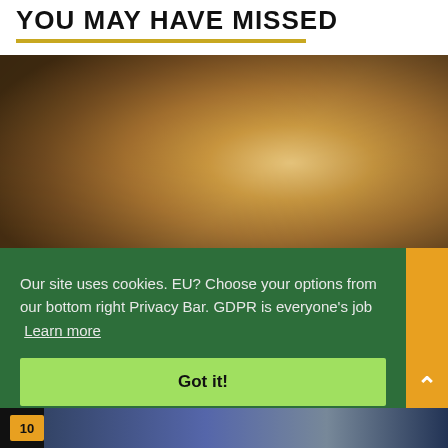YOU MAY HAVE MISSED
[Figure (photo): Vintage sepia-toned photograph showing a young person with reddish-brown hair in an outdoor urban setting, with blurred figures and a vehicle in the background.]
Our site uses cookies. EU? Choose your options from our bottom right Privacy Bar. GDPR is everyone's job  Learn more
Got it!
[Figure (photo): Partial thumbnail at bottom of page showing a dark blue-toned image, partially visible, with a yellow badge showing '10'.]